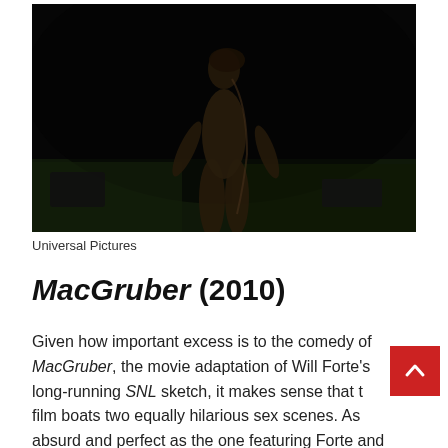[Figure (photo): A dark outdoor scene showing the back of a nude figure standing in a dimly lit grassy area. The figure appears to be a person with arms slightly extended. The background is very dark.]
Universal Pictures
MacGruber (2010)
Given how important excess is to the comedy of MacGruber, the movie adaptation of Will Forte's long-running SNL sketch, it makes sense that the film boats two equally hilarious sex scenes. As absurd and perfect as the one featuring Forte and